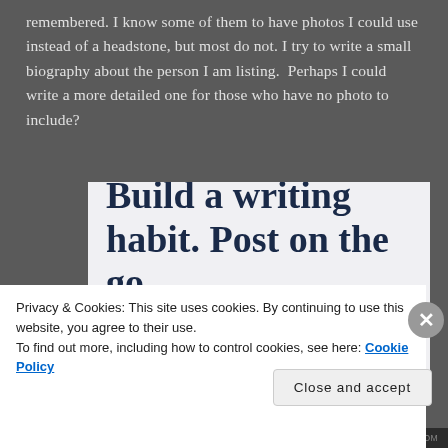remembered. I know some of them to have photos I could use instead of a headstone, but most do not. I try to write a small biography about the person I am listing.  Perhaps I could write a more detailed one for those who have no photo to include?
[Figure (screenshot): WordPress mobile app advertisement showing text 'Build a writing habit. Post on the go.' with a 'GET THE APP' call to action and WordPress logo]
Privacy & Cookies: This site uses cookies. By continuing to use this website, you agree to their use.
To find out more, including how to control cookies, see here: Cookie Policy
Close and accept